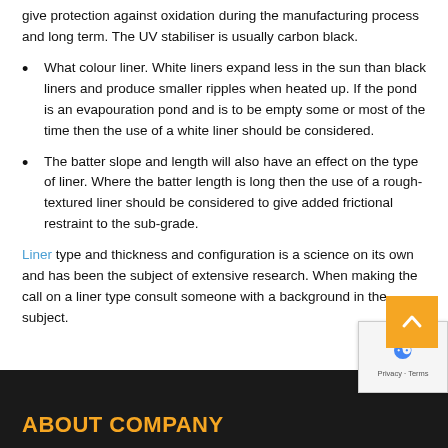give protection against oxidation during the manufacturing process and long term. The UV stabiliser is usually carbon black.
What colour liner. White liners expand less in the sun than black liners and produce smaller ripples when heated up. If the pond is an evapouration pond and is to be empty some or most of the time then the use of a white liner should be considered.
The batter slope and length will also have an effect on the type of liner. Where the batter length is long then the use of a rough-textured liner should be considered to give added frictional restraint to the sub-grade.
Liner type and thickness and configuration is a science on its own and has been the subject of extensive research. When making the call on a liner type consult someone with a background in the subject.
ABOUT COMPANY